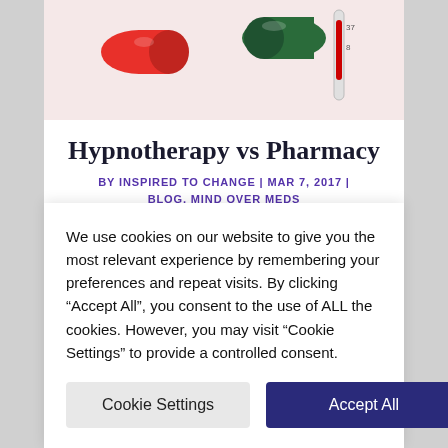[Figure (photo): Close-up photo of red and green medicine capsules with a thermometer in the background on a light pink surface]
Hypnotherapy vs Pharmacy
BY INSPIRED TO CHANGE | MAR 7, 2017 | BLOG, MIND OVER MEDS
Hypnotherapy vs Pharmacy As a practicing pharmacist, people are often visibly surprised that I would also
We use cookies on our website to give you the most relevant experience by remembering your preferences and repeat visits. By clicking “Accept All”, you consent to the use of ALL the cookies. However, you may visit “Cookie Settings” to provide a controlled consent.